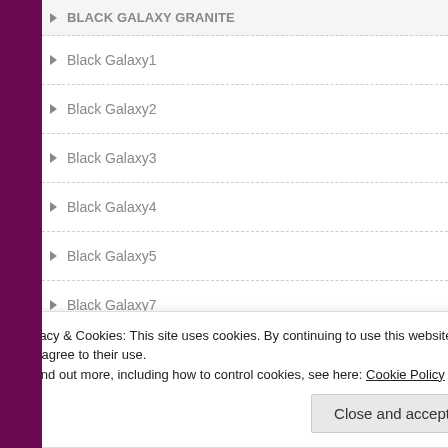BLACK GALAXY GRANITE
Black Galaxy1
Black Galaxy2
Black Galaxy3
Black Galaxy4
Black Galaxy5
Black Galaxy7
BLACK GOLD 1
black indian marble
BLACK INDIAN MARBLE 1
BLACK INDIAN MARBLE 2
Privacy & Cookies: This site uses cookies. By continuing to use this website, you agree to their use.
To find out more, including how to control cookies, see here: Cookie Policy
Close and accept